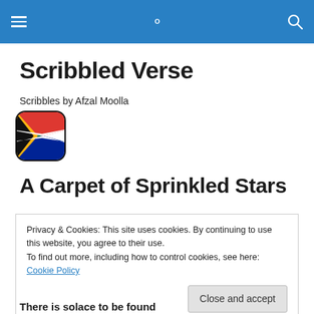≡  🔍
Scribbled Verse
Scribbles by Afzal Moolla
[Figure (illustration): South African flag emoji icon with rounded corners]
A Carpet of Sprinkled Stars
Privacy & Cookies: This site uses cookies. By continuing to use this website, you agree to their use.
To find out more, including how to control cookies, see here: Cookie Policy

Close and accept
There is solace to be found